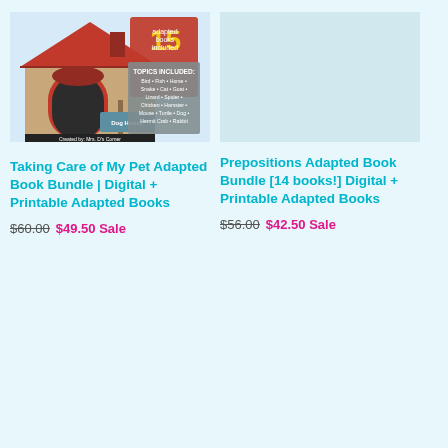[Figure (illustration): Book cover for 'Taking Care of My Pet Adapted Book Bundle' showing a dog house with a red-framed door and a banner listing 15 adapted books included, with topics: Bird, Fish, Horse, Snake, Cat, Goat, Lizard, Spider, Chicken, Hamster, Mouse, Turtle, Dog, Hermit Crab, Rabbit. Created by Mrs. D's Corner.]
Taking Care of My Pet Adapted Book Bundle | Digital + Printable Adapted Books
$60.00  $49.50 Sale
[Figure (illustration): Placeholder/blank area for Prepositions Adapted Book Bundle cover image.]
Prepositions Adapted Book Bundle [14 books!] Digital + Printable Adapted Books
$56.00  $42.50 Sale